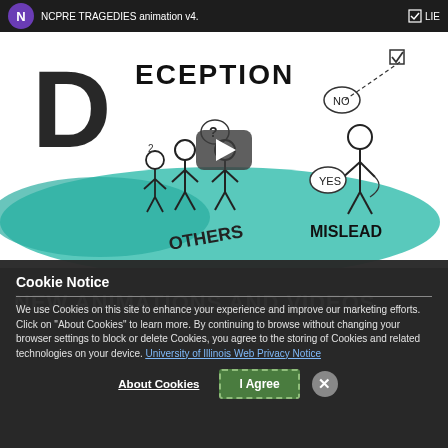[Figure (screenshot): YouTube video thumbnail for 'NCPRE TRAGEDIES animation v4.' showing a whiteboard-style animation about Deception with stick figures, speech bubbles (? and NO/YES), text labels DECEPTION, LIE, MISLEAD, OTHERS on a teal/white illustrated background. A play button overlay is visible in the center. The video bar shows a purple N channel icon.]
Cookie Notice
We use Cookies on this site to enhance your experience and improve our marketing efforts. Click on "About Cookies" to learn more. By continuing to browse without changing your browser settings to block or delete Cookies, you agree to the storing of Cookies and related technologies on your device. University of Illinois Web Privacy Notice
NEW ANIMATIONS AND VIDEOS
Click here to find tutorials and animations for using the And Stance method.